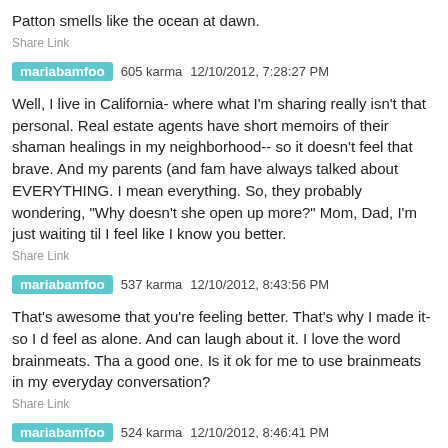Patton smells like the ocean at dawn.
Share Link
mariabamfoo  605 karma  12/10/2012, 7:28:27 PM
Well, I live in California- where what I'm sharing really isn't that personal. Real estate agents have short memoirs of their shaman healings in my neighborhood-- so it doesn't feel that brave. And my parents (and family) have always talked about EVERYTHING. I mean everything. So, they are probably wondering, "Why doesn't she open up more?" Mom, Dad, I'm just waiting til I feel like I know you better.
Share Link
mariabamfoo  537 karma  12/10/2012, 8:43:56 PM
That's awesome that you're feeling better. That's why I made it- so I don't feel as alone. And can laugh about it. I love the word brainmeats. That's a good one. Is it ok for me to use brainmeats in my everyday conversation?
Share Link
mariabamfoo  524 karma  12/10/2012, 8:46:41 PM
You are here now. I read your comment. I respond. You respond. I respond. We are. This is.